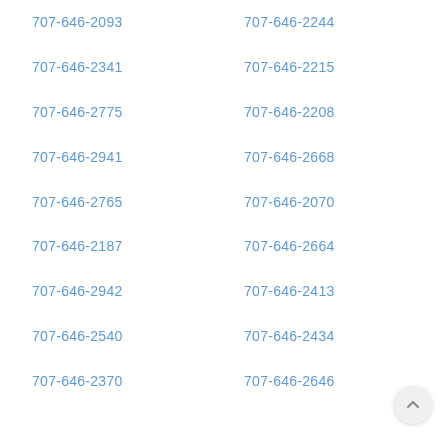707-646-2093
707-646-2244
707-646-2341
707-646-2215
707-646-2775
707-646-2208
707-646-2941
707-646-2668
707-646-2765
707-646-2070
707-646-2187
707-646-2664
707-646-2942
707-646-2413
707-646-2540
707-646-2434
707-646-2370
707-646-2646